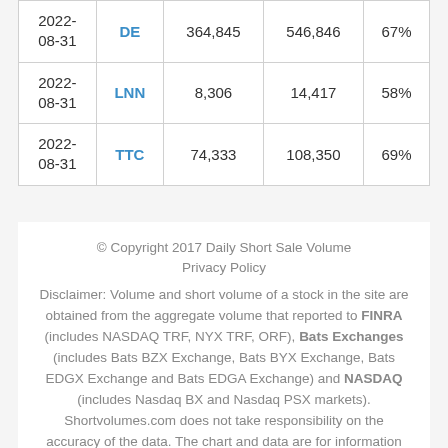| 2022-08-31 | DE | 364,845 | 546,846 | 67% |
| 2022-08-31 | LNN | 8,306 | 14,417 | 58% |
| 2022-08-31 | TTC | 74,333 | 108,350 | 69% |
© Copyright 2017 Daily Short Sale Volume Privacy Policy Disclaimer: Volume and short volume of a stock in the site are obtained from the aggregate volume that reported to FINRA (includes NASDAQ TRF, NYX TRF, ORF), Bats Exchanges (includes Bats BZX Exchange, Bats BYX Exchange, Bats EDGX Exchange and Bats EDGA Exchange) and NASDAQ (includes Nasdaq BX and Nasdaq PSX markets). Shortvolumes.com does not take responsibility on the accuracy of the data. The chart and data are for information only, not for trading purposes or advice.